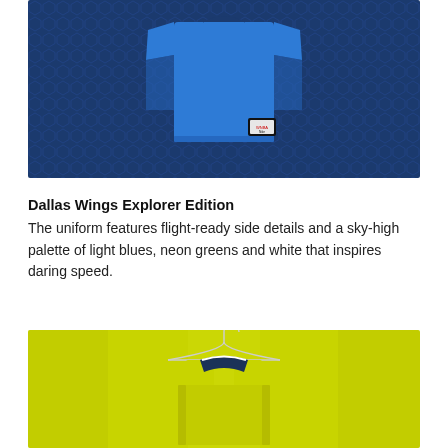[Figure (photo): Blue Dallas Wings basketball jersey laid flat on a dark navy textured background with hexagonal pattern. The jersey is bright royal blue with a small WNBA/Nike tag visible near the bottom right.]
Dallas Wings Explorer Edition
The uniform features flight-ready side details and a sky-high palette of light blues, neon greens and white that inspires daring speed.
[Figure (photo): Yellow-green (neon/chartreuse) Dallas Wings basketball jersey hanging on a wire hanger against a matching yellow-green fabric background. The jersey has a navy and white collar visible.]